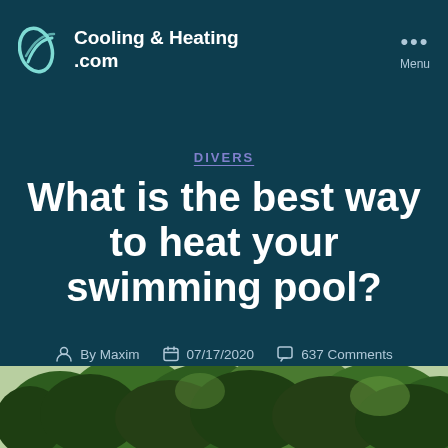Cooling & Heating .com
DIVERS
What is the best way to heat your swimming pool?
By Maxim   07/17/2020   637 Comments
[Figure (photo): Trees and foliage photo strip at bottom of page]